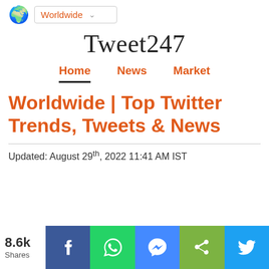🌍 Worldwide ▾
Tweet247
Home  News  Market
Worldwide | Top Twitter Trends, Tweets & News
Updated: August 29th, 2022 11:41 AM IST
8.6k Shares